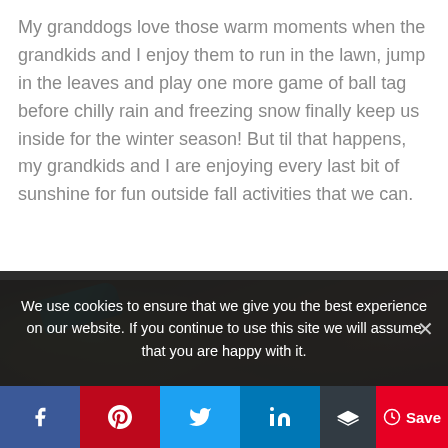My granddogs love those warm moments when the grandkids and I enjoy them to run in the lawn, jump in the leaves and play one more game of ball tag before chilly rain and freezing snow finally keep us inside for the winter season! But til that happens, my grandkids and I are enjoying every last bit of sunshine for fun outside fall activities that we can.
[Figure (photo): Close-up photo of fall leaves on the ground, primarily brown and reddish tones, with a teal-colored object visible in the upper left corner.]
We use cookies to ensure that we give you the best experience on our website. If you continue to use this site we will assume that you are happy with it.
Facebook | Pinterest | Twitter | LinkedIn | Buffer | Save